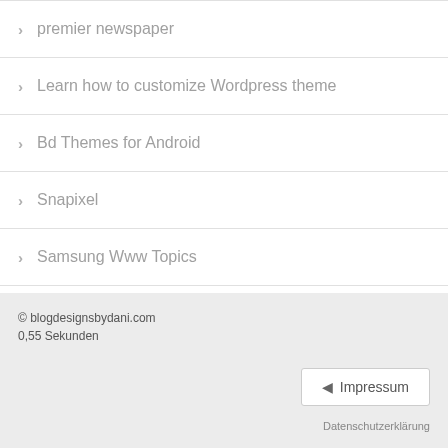premier newspaper
Learn how to customize Wordpress theme
Bd Themes for Android
Snapixel
Samsung Www Topics
Chatted Web Topics
Blogger Top Templates 2016
Books on topics examples
Seattle themed restaurants
© blogdesignsbydani.com
0,55 Sekunden
Impressum
Datenschutzerklärung